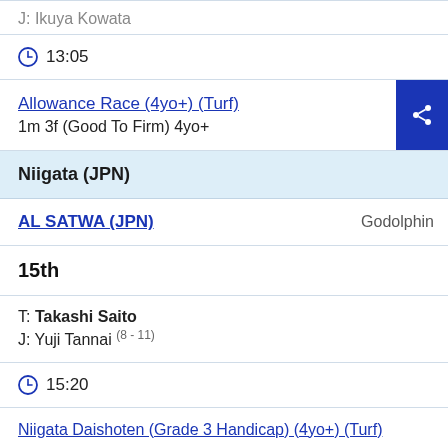J: Ikuya Kowata (8 - 11)
⊙ 13:05
Allowance Race (4yo+) (Turf)
1m 3f (Good To Firm) 4yo+
Niigata (JPN)
AL SATWA (JPN)  Godolphin
15th
T: Takashi Saito
J: Yuji Tannai (8 - 11)
⊙ 15:20
Niigata Daishoten (Grade 3 Handicap) (4yo+) (Turf)